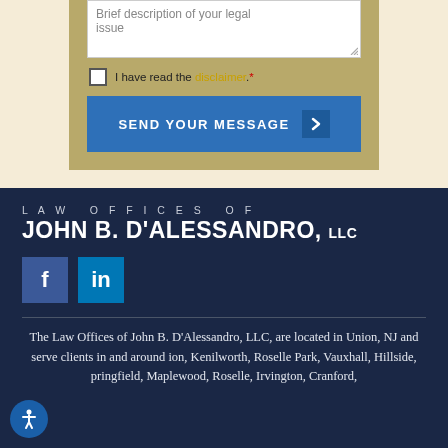Brief description of your legal issue
I have read the disclaimer.*
SEND YOUR MESSAGE
LAW OFFICES OF JOHN B. D'ALESSANDRO, LLC
[Figure (logo): Facebook and LinkedIn social media icons]
The Law Offices of John B. D'Alessandro, LLC, are located in Union, NJ and serve clients in and around ion, Kenilworth, Roselle Park, Vauxhall, Hillside, pringfield, Maplewood, Roselle, Irvington, Cranford,